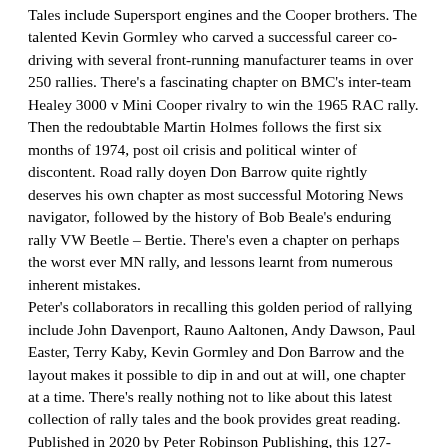Tales include Supersport engines and the Cooper brothers. The talented Kevin Gormley who carved a successful career co-driving with several front-running manufacturer teams in over 250 rallies. There's a fascinating chapter on BMC's inter-team Healey 3000 v Mini Cooper rivalry to win the 1965 RAC rally. Then the redoubtable Martin Holmes follows the first six months of 1974, post oil crisis and political winter of discontent. Road rally doyen Don Barrow quite rightly deserves his own chapter as most successful Motoring News navigator, followed by the history of Bob Beale's enduring rally VW Beetle – Bertie. There's even a chapter on perhaps the worst ever MN rally, and lessons learnt from numerous inherent mistakes. Peter's collaborators in recalling this golden period of rallying include John Davenport, Rauno Aaltonen, Andy Dawson, Paul Easter, Terry Kaby, Kevin Gormley and Don Barrow and the layout makes it possible to dip in and out at will, one chapter at a time. There's really nothing not to like about this latest collection of rally tales and the book provides great reading. Published in 2020 by Peter Robinson Publishing, this 127-page A5 size soft-back book carries a number of hitherto unseen black and white rally images.